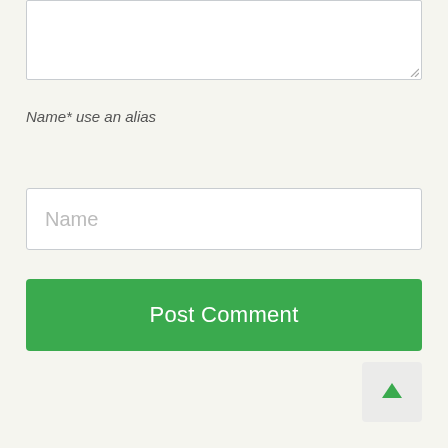[Figure (screenshot): Textarea input box (partially visible at top of page), empty white text area with resize handle in bottom right corner]
Name* use an alias
[Figure (screenshot): Name input field with placeholder text 'Name']
[Figure (screenshot): Green 'Post Comment' button]
[Figure (screenshot): Back to top button with upward arrow icon in bottom right corner]